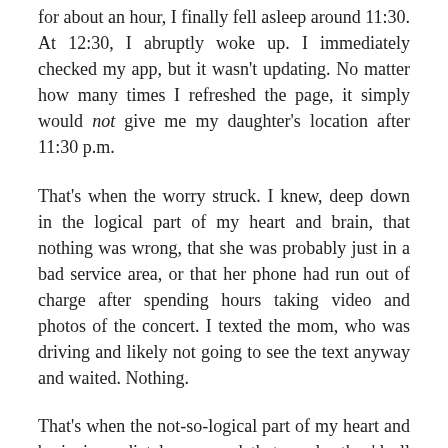for about an hour, I finally fell asleep around 11:30. At 12:30, I abruptly woke up. I immediately checked my app, but it wasn't updating. No matter how many times I refreshed the page, it simply would not give me my daughter's location after 11:30 p.m.
That's when the worry struck. I knew, deep down in the logical part of my heart and brain, that nothing was wrong, that she was probably just in a bad service area, or that her phone had run out of charge after spending hours taking video and photos of the concert. I texted the mom, who was driving and likely not going to see the text anyway and waited. Nothing.
That's when the not-so-logical part of my heart and brain immediately assumed that surely, they'd all three been kidnapped at the gas station and their phones smashed. That was the only remaining option. (Illogical fears make so much more sense in the middle of the night!) I tried to go back to